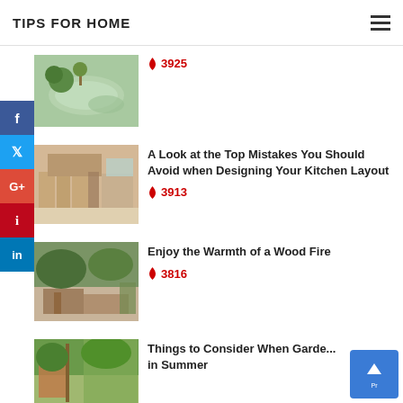TIPS FOR HOME
[Figure (photo): Thumbnail of a spa/jacuzzi with green plants]
🔥 3925
[Figure (photo): Thumbnail of a wooden kitchen layout]
A Look at the Top Mistakes You Should Avoid when Designing Your Kitchen Layout
🔥 3913
[Figure (photo): Thumbnail of firewood stacked outdoors]
Enjoy the Warmth of a Wood Fire
🔥 3816
[Figure (photo): Thumbnail of a summer garden]
Things to Consider When Gardening in Summer